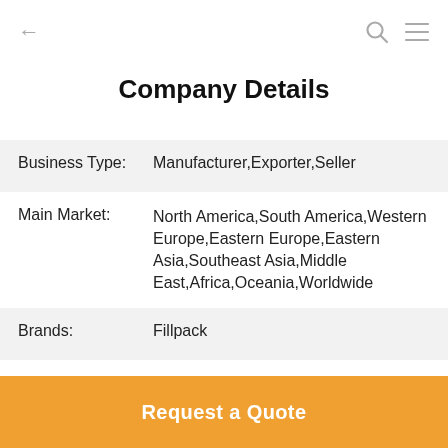← [back] [search] [menu]
Company Details
| Field | Value |
| --- | --- |
| Business Type: | Manufacturer,Exporter,Seller |
| Main Market: | North America,South America,Western Europe,Eastern Europe,Eastern Asia,Southeast Asia,Middle East,Africa,Oceania,Worldwide |
| Brands: | Fillpack |
| No. of Employees: | 200~300 |
Request a Quote